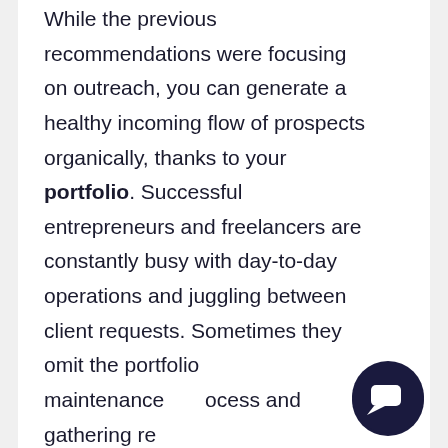While the previous recommendations were focusing on outreach, you can generate a healthy incoming flow of prospects organically, thanks to your portfolio. Successful entrepreneurs and freelancers are constantly busy with day-to-day operations and juggling between client requests. Sometimes they omit the portfolio maintenance process and gathering re[views]. In the event of a slo[wdown, the work] has been interru[pted and is hard] to put in motion once again. This may lead to several tough months unless some careful planning has been done
[Figure (screenshot): Chat support popup overlay with paper plane icon circle and message 'Got any questions? I'm happy to help.' with an X close button. A dark navy chat bubble button is in the bottom right corner.]